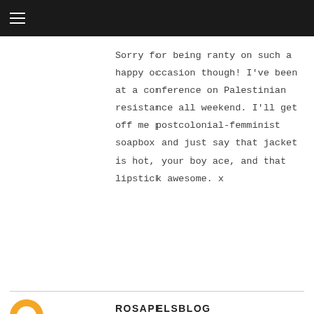≡
Sorry for being ranty on such a happy occasion though! I've been at a conference on Palestinian resistance all weekend. I'll get off me postcolonial-femminist soapbox and just say that jacket is hot, your boy ace, and that lipstick awesome. x
Reply
ROSAPELSBLOG